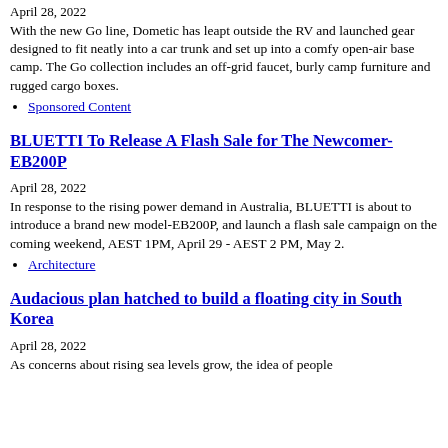April 28, 2022
With the new Go line, Dometic has leapt outside the RV and launched gear designed to fit neatly into a car trunk and set up into a comfy open-air base camp. The Go collection includes an off-grid faucet, burly camp furniture and rugged cargo boxes.
Sponsored Content
BLUETTI To Release A Flash Sale for The Newcomer- EB200P
April 28, 2022
In response to the rising power demand in Australia, BLUETTI is about to introduce a brand new model-EB200P, and launch a flash sale campaign on the coming weekend, AEST 1PM, April 29 - AEST 2 PM, May 2.
Architecture
Audacious plan hatched to build a floating city in South Korea
April 28, 2022
As concerns about rising sea levels grow, the idea of people